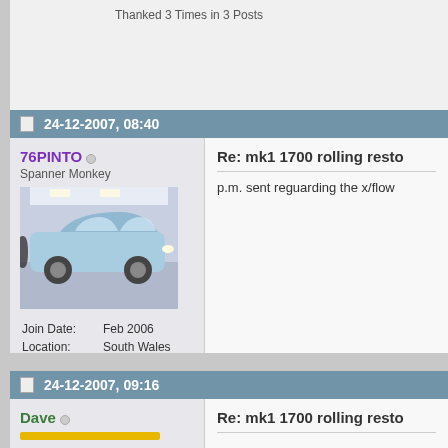Thanked 3 Times in 3 Posts
24-12-2007, 08:40
76PINTO
Spanner Monkey
[Figure (photo): Avatar image showing a light blue classic Ford car in a showroom]
Join Date: Feb 2006
Location: South Wales
Age: 37
Posts: 255
Thanks: 8
Thanked 0 Times in 0 Posts
Re: mk1 1700 rolling resto
p.m. sent reguarding the x/flow
24-12-2007, 09:16
Dave
Re: mk1 1700 rolling resto